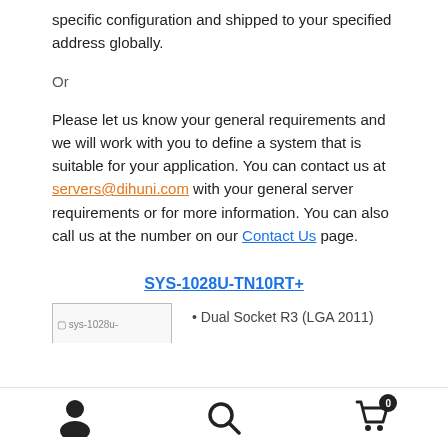specific configuration and shipped to your specified address globally.
Or
Please let us know your general requirements and we will work with you to define a system that is suitable for your application. You can contact us at servers@dihuni.com with your general server requirements or for more information. You can also call us at the number on our Contact Us page.
SYS-1028U-TN10RT+
[Figure (other): Product image placeholder for SYS-1028U]
Dual Socket R3 (LGA 2011)